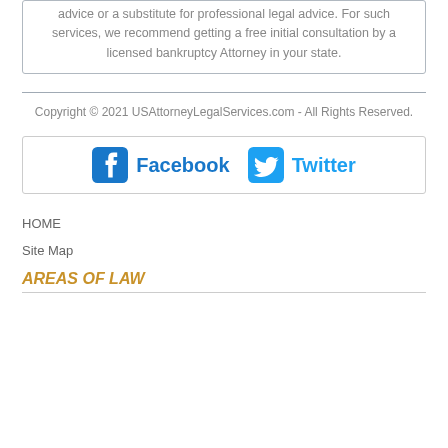advice or a substitute for professional legal advice. For such services, we recommend getting a free initial consultation by a licensed bankruptcy Attorney in your state.
Copyright © 2021 USAttorneyLegalServices.com - All Rights Reserved.
[Figure (other): Social media buttons for Facebook and Twitter]
HOME
Site Map
AREAS OF LAW